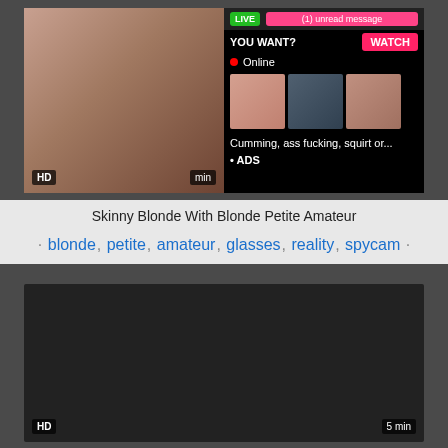[Figure (screenshot): Video thumbnail with ad overlay. Shows LIVE badge, unread message notification, YOU WANT? and WATCH button, Online status, small preview thumbnails, text 'Cumming, ass fucking, squirt or...' and '• ADS'. HD badge and duration badge visible.]
Skinny Blonde With Blonde Petite Amateur
· blonde, petite, amateur, glasses, reality, spycam ·
[Figure (screenshot): Dark video thumbnail with HD badge and 5 min duration badge.]